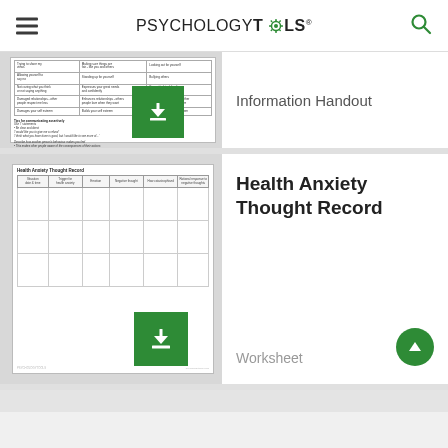PSYCHOLOGYTOOLS
[Figure (screenshot): Thumbnail of an assertiveness information handout with a table and tips text, with a green download button]
Information Handout
Health Anxiety Thought Record
[Figure (screenshot): Thumbnail of a Health Anxiety Thought Record worksheet showing a table with columns for situation, trigger, emotion, negative thought, how catastrophised, and rational response]
Worksheet